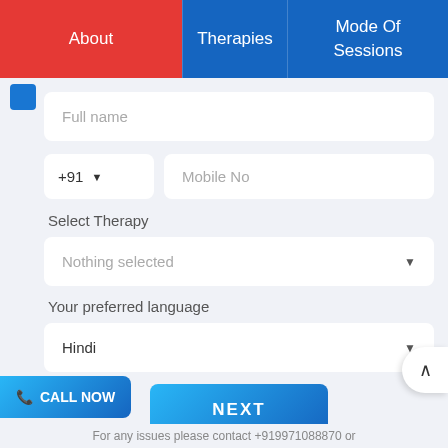About | Therapies | Mode Of Sessions
Full name
+91  Mobile No
Select Therapy
Nothing selected
Your preferred language
Hindi
NEXT
CALL NOW
For any issues please contact +919971088870 or